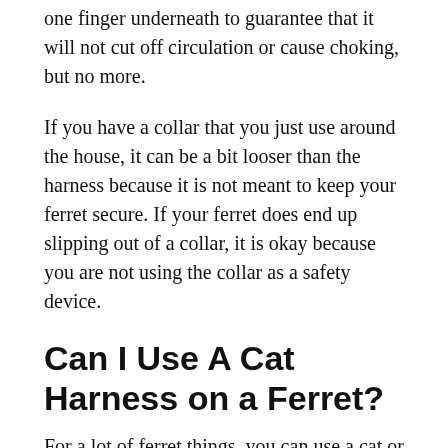one finger underneath to guarantee that it will not cut off circulation or cause choking, but no more.
If you have a collar that you just use around the house, it can be a bit looser than the harness because it is not meant to keep your ferret secure. If your ferret does end up slipping out of a collar, it is okay because you are not using the collar as a safety device.
Can I Use A Cat Harness on a Ferret?
For a lot of ferret things, you can use a cat or other animal alternatives. For instance, there is a lot of cat foods that you can use as a substitute for ferret foods. You can also use some cat litter and litter boxes